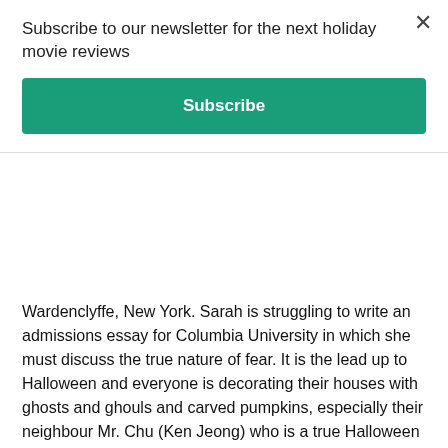Subscribe to our newsletter for the next holiday movie reviews
Subscribe
Wardenclyffe, New York. Sarah is struggling to write an admissions essay for Columbia University in which she must discuss the true nature of fear. It is the lead up to Halloween and everyone is decorating their houses with ghosts and ghouls and carved pumpkins, especially their neighbour Mr. Chu (Ken Jeong) who is a true Halloween enthusiast and has really gone all out!
Sonny's best friend from school, Sam (Caleel Harris) is coming to stay with the Quinn family over Halloween and he has a grand plan for a new business – The Junk Brothers – a garbage pick-up service. After he puts up some flyers, his first customer calls and asks the two boys whether they can clear out an abandoned house. Sonny and Sam ride their bikes out to the abandoned house, which has a spooky atmosphere and makes the boys a bit nervous. In the house, they discover a secret room with a